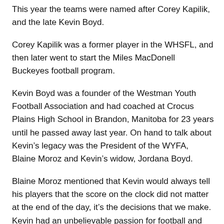This year the teams were named after Corey Kapilik, and the late Kevin Boyd.
Corey Kapilik was a former player in the WHSFL, and then later went to start the Miles MacDonell Buckeyes football program.
Kevin Boyd was a founder of the Westman Youth Football Association and had coached at Crocus Plains High School in Brandon, Manitoba for 23 years until he passed away last year. On hand to talk about Kevin’s legacy was the President of the WYFA, Blaine Moroz and Kevin’s widow, Jordana Boyd.
Blaine Moroz mentioned that Kevin would always tell his players that the score on the clock did not matter at the end of the day, it’s the decisions that we make.  Kevin had an unbelievable passion for football and was a players’ coach.
In honor of Kevin Boyd, Blaine and the WFYA are building